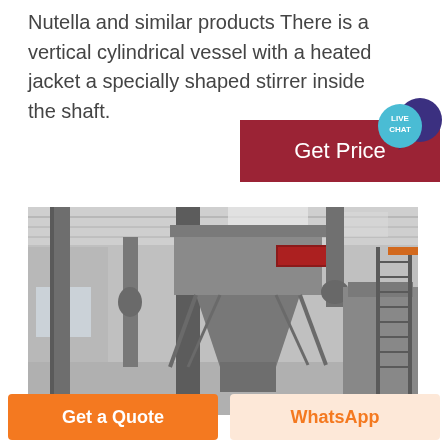Nutella and similar products There is a vertical cylindrical vessel with a heated jacket a specially shaped stirrer inside the shaft.
[Figure (photo): Industrial factory interior with large dust collector / hopper equipment, metal pipes, columns, scaffolding staircase, and overhead crane rail visible in a grey industrial space]
Get Price
Get a Quote
WhatsApp